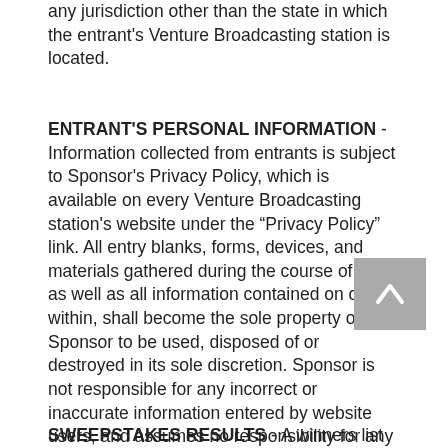any jurisdiction other than the state in which the entrant's Venture Broadcasting station is located.
ENTRANT'S PERSONAL INFORMATION - Information collected from entrants is subject to Sponsor's Privacy Policy, which is available on every Venture Broadcasting station's website under the “Privacy Policy” link. All entry blanks, forms, devices, and materials gathered during the course of entry, as well as all information contained on or within, shall become the sole property of Sponsor to be used, disposed of or destroyed in its sole discretion. Sponsor is not responsible for any incorrect or inaccurate information entered by website users, and assumes no responsibility for any error, omission, interruption, deletion, defect, delay in operation or transmission, communications line failure, theft or destruction or unauthorized access to a Venture Broadcasting station website.
SWEEPSTAKES RESULTS - A winners list